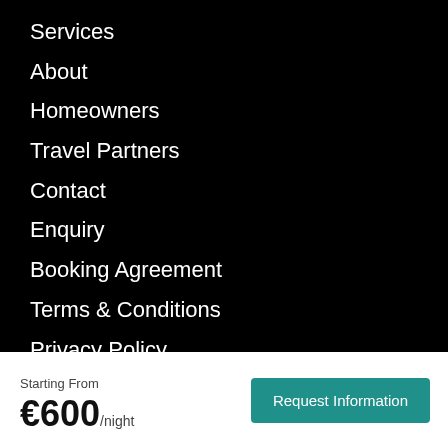Services
About
Homeowners
Travel Partners
Contact
Enquiry
Booking Agreement
Terms & Conditions
Privacy Policy
Guest Reviews
Covid-19
How May We Assist You?
Starting From
€600/night
Request Information